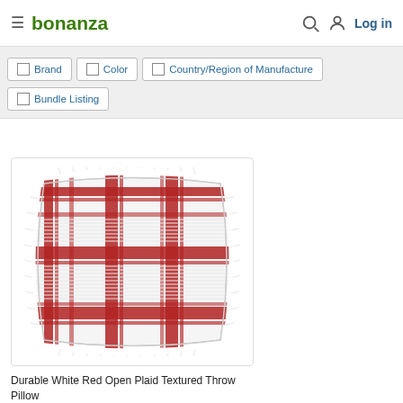bonanza — Log in
Brand
Color
Country/Region of Manufacture
Bundle Listing
[Figure (photo): A white and red open plaid textured throw pillow with fringe edges on a white background.]
Durable White Red Open Plaid Textured Throw Pillow